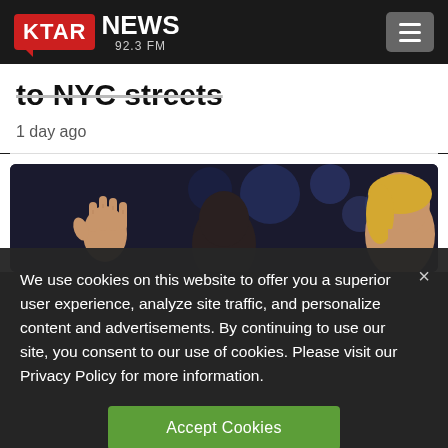[Figure (logo): KTAR NEWS 92.3 FM logo with red badge and hamburger menu button]
to NYC streets
1 day ago
[Figure (photo): Partial photo showing a hand raised and a blonde person, dark background]
We use cookies on this website to offer you a superior user experience, analyze site traffic, and personalize content and advertisements. By continuing to use our site, you consent to our use of cookies. Please visit our Privacy Policy for more information.
Accept Cookies